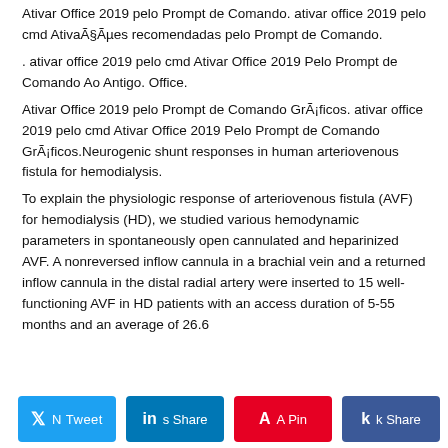Ativar Office 2019 pelo Prompt de Comando. ativar office 2019 pelo cmd AtivaÃ§Ãµes recomendadas pelo Prompt de Comando.
. ativar office 2019 pelo cmd Ativar Office 2019 Pelo Prompt de Comando Ao Antigo. Office.
Ativar Office 2019 pelo Prompt de Comando GrÃ¡ficos. ativar office 2019 pelo cmd Ativar Office 2019 Pelo Prompt de Comando GrÃ¡ficos.Neurogenic shunt responses in human arteriovenous fistula for hemodialysis.
To explain the physiologic response of arteriovenous fistula (AVF) for hemodialysis (HD), we studied various hemodynamic parameters in spontaneously open cannulated and heparinized AVF. A nonreversed inflow cannula in a brachial vein and a returned inflow cannula in the distal radial artery were inserted to 15 well-functioning AVF in HD patients with an access duration of 5-55 months and an average of 26.6
0 SHARES